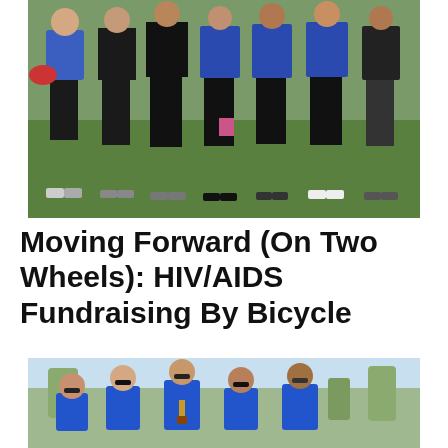[Figure (photo): Group of cyclists in matching blue and black jerseys with Golden Gate Bridge graphic, wearing cycling shorts and shoes, standing on grass outdoors.]
Moving Forward (On Two Wheels): HIV/AIDS Fundraising By Bicycle
[Figure (photo): Group of five people in blue cycling jerseys with sunglasses, smiling outdoors with trees and sky in background.]